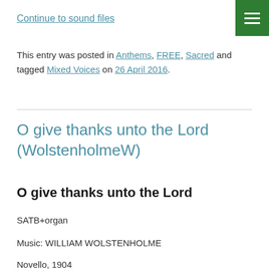Continue to sound files
This entry was posted in Anthems, FREE, Sacred and tagged Mixed Voices on 26 April 2016.
O give thanks unto the Lord (WolstenholmeW)
O give thanks unto the Lord
SATB+organ
Music: WILLIAM WOLSTENHOLME
Novello, 1904